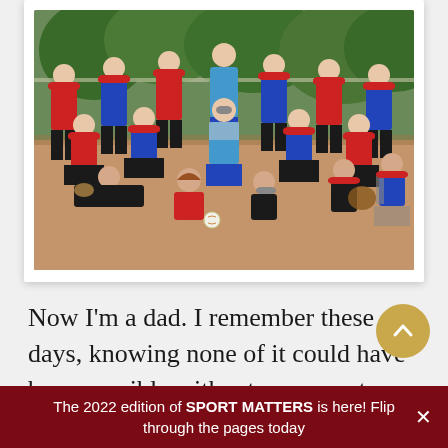[Figure (photo): Youth girls softball team photo on a dirt field, wearing red and blue uniforms with red caps, posed in multiple rows with some players lying/crouching in front and a catcher in blue gear in the center.]
Now I'm a dad. I remember these days, knowing none of it could have been possible without my parents, other players' parents, and countless other volunteers. They selflessly donated so many hours as
The 2022 edition of SPORT MATTERS is here! Flip through the pages today